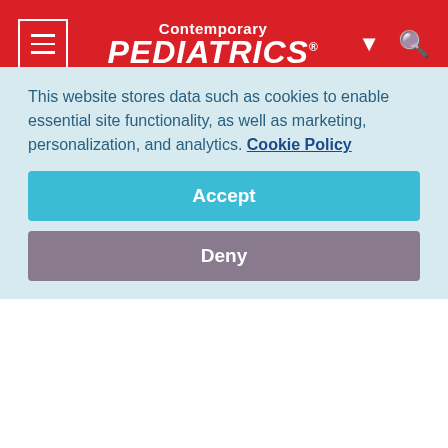Contemporary PEDIATRICS
Zaditor (ketotifen fumarate), manufactured by Novartis Pharmaceuticals Corp., is an eye itch relief drop safe for children as young as three years of age. With just one drop, Zaditor provides up to 12 hours of continuous relief.
“Now for the first time, people who suffer from itchy eyes caused by allergens such as pollen or pet dander can get fast, long-acting relief over-the-counter with Zaditor,” says Marion Morton, Head of the US Novartis Ophthalmics Business Unit
This website stores data such as cookies to enable essential site functionality, as well as marketing, personalization, and analytics. Cookie Policy
Accept
Deny